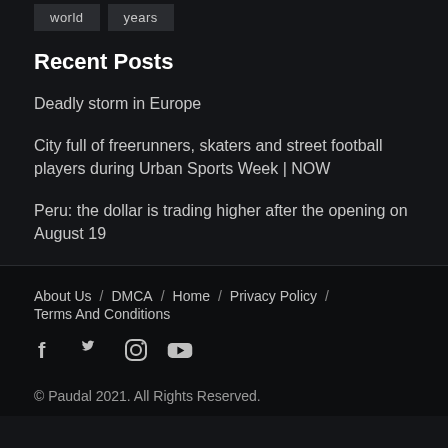world
years
Recent Posts
Deadly storm in Europe
City full of freerunners, skaters and street football players during Urban Sports Week | NOW
Peru: the dollar is trading higher after the opening on August 19
About Us / DMCA / Home / Privacy Policy / Terms And Conditions
© Paudal 2021. All Rights Reserved.